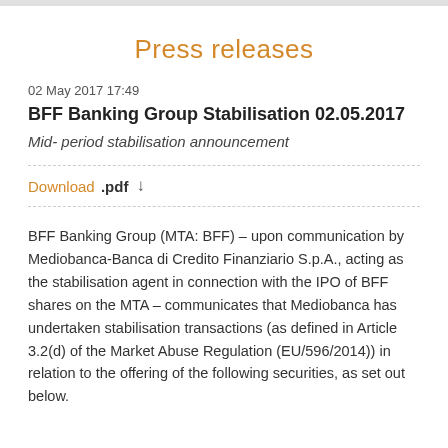Press releases
02 May 2017 17:49
BFF Banking Group Stabilisation 02.05.2017
Mid- period stabilisation announcement
Download .pdf ↓
BFF Banking Group (MTA: BFF) – upon communication by Mediobanca-Banca di Credito Finanziario S.p.A., acting as the stabilisation agent in connection with the IPO of BFF shares on the MTA – communicates that Mediobanca has undertaken stabilisation transactions (as defined in Article 3.2(d) of the Market Abuse Regulation (EU/596/2014)) in relation to the offering of the following securities, as set out below.